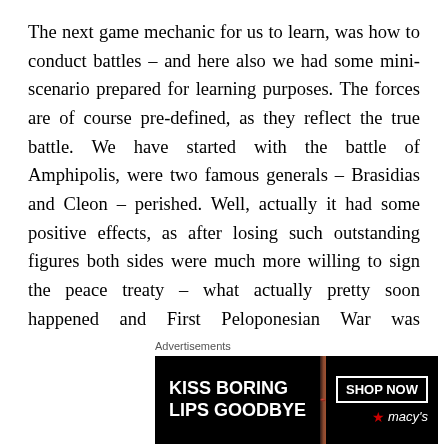The next game mechanic for us to learn, was how to conduct battles – and here also we had some mini-scenario prepared for learning purposes. The forces are of course pre-defined, as they reflect the true battle. We have started with the battle of Amphipolis, were two famous generals – Brasidias and Cleon – perished. Well, actually it had some positive effects, as after losing such outstanding figures both sides were much more willing to sign the peace treaty – what actually pretty soon happened and First Peloponesian War was concluded.
In our battle, Konrad and his Athenians (blue) and
[Figure (photo): Macy's advertisement banner: 'KISS BORING LIPS GOODBYE' with a woman's face showing red lips, and a 'SHOP NOW' button with the Macy's star logo]